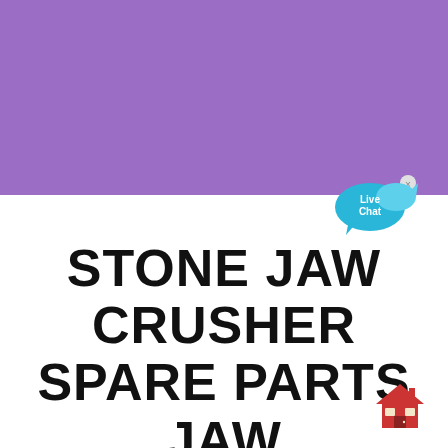[Figure (illustration): Purple rectangular banner filling the top half of the page]
[Figure (illustration): Live Chat speech bubble icon in cyan/blue with white text]
STONE JAW CRUSHER SPARE PARTS JAW PLATE
[Figure (illustration): House/building emoji icon in the bottom right corner]